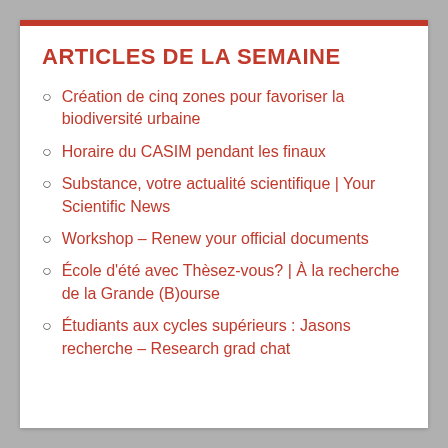ARTICLES DE LA SEMAINE
Création de cinq zones pour favoriser la biodiversité urbaine
Horaire du CASIM pendant les finaux
Substance, votre actualité scientifique | Your Scientific News
Workshop – Renew your official documents
École d'été avec Thèsez-vous? | À la recherche de la Grande (B)ourse
Étudiants aux cycles supérieurs : Jasons recherche – Research grad chat